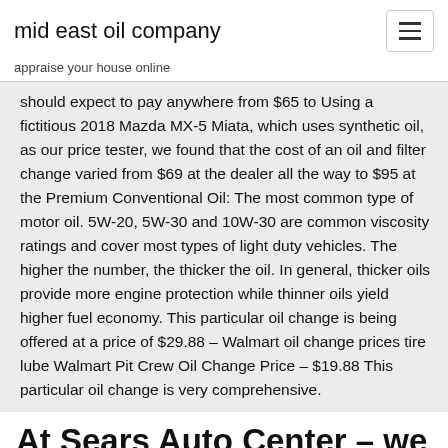mid east oil company
appraise your house online
should expect to pay anywhere from $65 to Using a fictitious 2018 Mazda MX-5 Miata, which uses synthetic oil, as our price tester, we found that the cost of an oil and filter change varied from $69 at the dealer all the way to $95 at the Premium Conventional Oil: The most common type of motor oil. 5W-20, 5W-30 and 10W-30 are common viscosity ratings and cover most types of light duty vehicles. The higher the number, the thicker the oil. In general, thicker oils provide more engine protection while thinner oils yield higher fuel economy. This particular oil change is being offered at a price of $29.88 – Walmart oil change prices tire lube Walmart Pit Crew Oil Change Price – $19.88 This particular oil change is very comprehensive.
At Sears Auto Center – we consider everything when recommending an oil